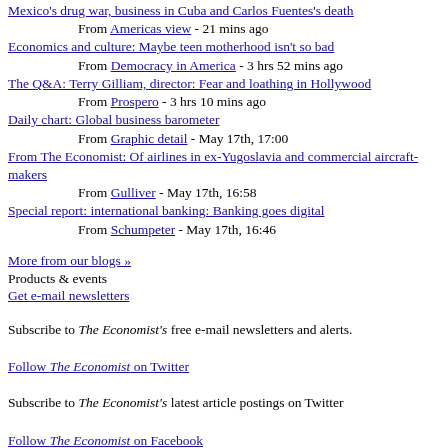Mexico's drug war, business in Cuba and Carlos Fuentes's death
From Americas view - 21 mins ago
Economics and culture: Maybe teen motherhood isn't so bad
From Democracy in America - 3 hrs 52 mins ago
The Q&A: Terry Gilliam, director: Fear and loathing in Hollywood
From Prospero - 3 hrs 10 mins ago
Daily chart: Global business barometer
From Graphic detail - May 17th, 17:00
From The Economist: Of airlines in ex-Yugoslavia and commercial aircraft-makers
From Gulliver - May 17th, 16:58
Special report: international banking: Banking goes digital
From Schumpeter - May 17th, 16:46
More from our blogs »
Products & events
Get e-mail newsletters
Subscribe to The Economist's free e-mail newsletters and alerts.
Follow The Economist on Twitter
Subscribe to The Economist's latest article postings on Twitter
Follow The Economist on Facebook